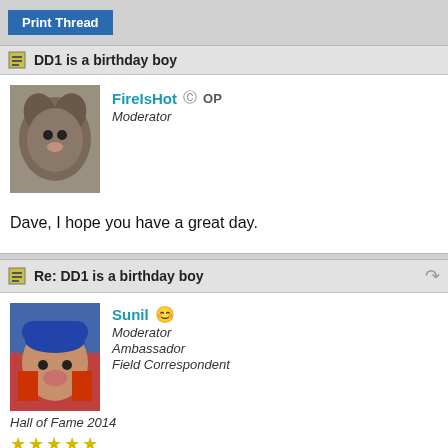Print Thread
DD1 is a birthday boy
FireIsHot  OP
Moderator

Dave, I hope you have a great day.
Re: DD1 is a birthday boy
Sunil
Moderator
Ambassador
Field Correspondent
Hall of Fame 2014
★★★★★
Lunker

Vintage Trouble!!!! HBD, Guv!!!!
Re: DD1 is a birthday boy